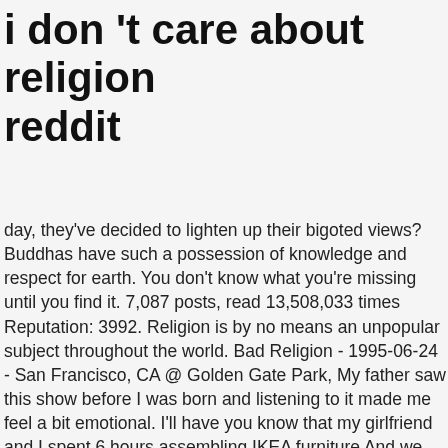i don 't care about religion reddit
day, they've decided to lighten up their bigoted views? Buddhas have such a possession of knowledge and respect for earth. You don't know what you're missing until you find it. 7,087 posts, read 13,508,033 times Reputation: 3992. Religion is by no means an unpopular subject throughout the world. Bad Religion - 1995-06-24 - San Francisco, CA @ Golden Gate Park, My father saw this show before I was born and listening to it made me feel a bit emotional. I'll have you know that my girlfriend and I spent 6 hours assembling IKEA furniture And we only threatened to break up twice The list goes on and on. Do the things that you want to do. I also pay absolutely no respect to religion. The reason I think this, is that while I acknowledge religion has created and/or inspired wonderful things in the world, (art, moral teachings, value of family, etc I realise these probably would exist without faith, but I believe that religion has had large and positive influence on them), I think that science has holistically been of far more historic and contemporary value to humanity. Every day, people leave their quandaries on the Reddit website – asking others to judge whether they were in the wrong